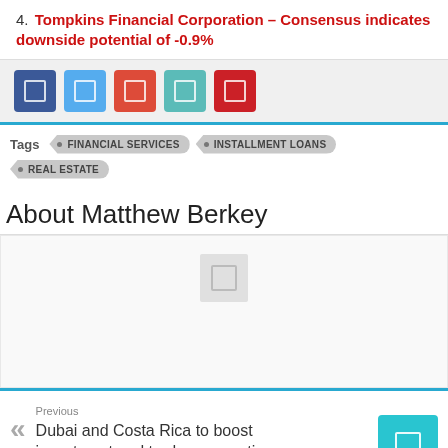4. Tompkins Financial Corporation – Consensus indicates downside potential of -0.9%
[Figure (other): Social sharing buttons: Facebook (blue), Twitter (light blue), Google+ (orange-red), LinkedIn (teal), Pinterest (red)]
Tags  FINANCIAL SERVICES  INSTALLMENT LOANS  REAL ESTATE
About Matthew Berkey
[Figure (photo): Author photo placeholder for Matthew Berkey]
Previous
Dubai and Costa Rica to boost investment and trade cooperation
Next